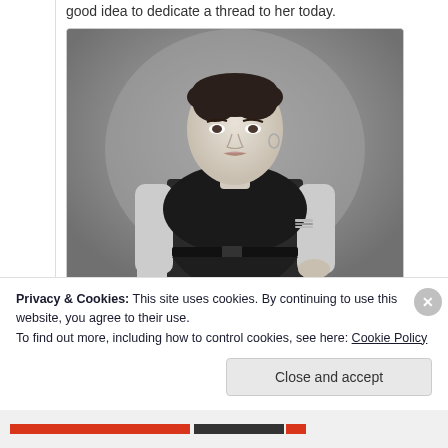good idea to dedicate a thread to her today.
[Figure (photo): Black and white portrait photo of a young woman with short dark hair, wearing a sleeveless black top and skirt with a belt, standing with one hand on hip]
Privacy & Cookies: This site uses cookies. By continuing to use this website, you agree to their use.
To find out more, including how to control cookies, see here: Cookie Policy
Close and accept